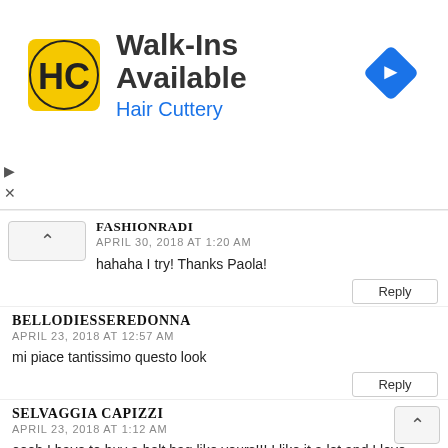[Figure (screenshot): Hair Cuttery advertisement banner with logo, 'Walk-Ins Available' heading, 'Hair Cuttery' subtitle in blue, and a blue navigation arrow icon on the right.]
FASHIONRADI
APRIL 30, 2018 AT 1:20 AM
hahaha I try! Thanks Paola!
Reply
BELLODIESSEREDONNA
APRIL 23, 2018 AT 12:57 AM
mi piace tantissimo questo look
Reply
SELVAGGIA CAPIZZI
APRIL 23, 2018 AT 1:12 AM
oooh I have to buy a belt bag like yours!!! I like it a lot and I love your blouse!!